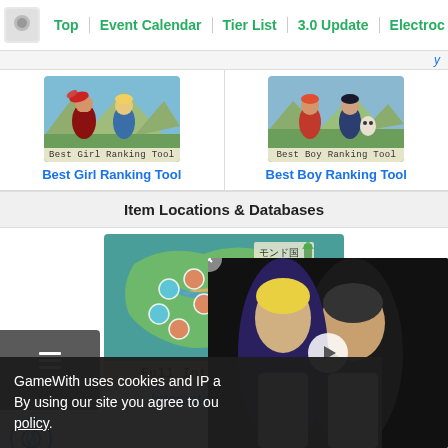Top | Event Calendar | Tier List | 3.0 Update | Electroc
[Figure (screenshot): Best Girl Ranking Tool anime character image with label overlay]
Best Girl Ranking Tool
[Figure (screenshot): Best Boy Ranking Tool anime character image with label overlay]
Best Boy Ranking Tool
Item Locations & Databases
[Figure (map): Full Interactive Map of Genshin Impact world with Japanese text モンド国]
Interactive Map Guide
[Figure (screenshot): Video overlay showing two people, with play button]
GameWith uses cookies and IP a
By using our site you agree to ou
policy.